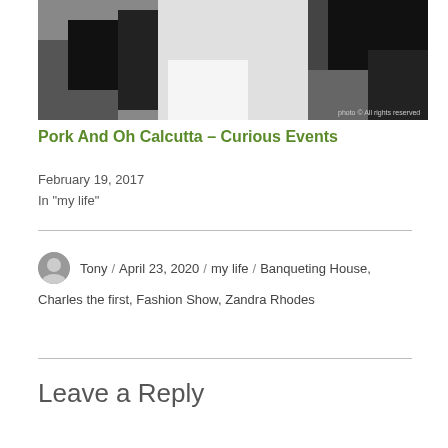[Figure (photo): Black and white photograph of figures, high contrast monochrome image]
Pork And Oh Calcutta – Curious Events
February 19, 2017
In "my life"
Tony / April 23, 2020 / my life / Banqueting House, Charles the first, Fashion Show, Zandra Rhodes
Leave a Reply